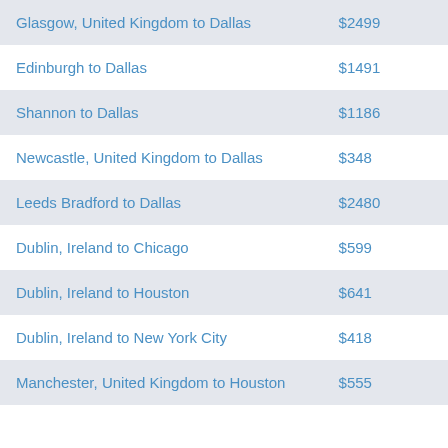| Route | Price |
| --- | --- |
| Glasgow, United Kingdom to Dallas | $2499 |
| Edinburgh to Dallas | $1491 |
| Shannon to Dallas | $1186 |
| Newcastle, United Kingdom to Dallas | $348 |
| Leeds Bradford to Dallas | $2480 |
| Dublin, Ireland to Chicago | $599 |
| Dublin, Ireland to Houston | $641 |
| Dublin, Ireland to New York City | $418 |
| Manchester, United Kingdom to Houston | $555 |